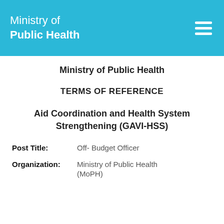Ministry of Public Health
Ministry of Public Health
TERMS OF REFERENCE
Aid Coordination and Health System Strengthening (GAVI-HSS)
Post Title: Off- Budget Officer
Organization: Ministry of Public Health (MoPH)